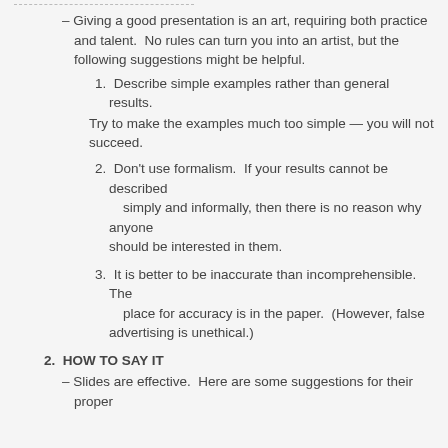– Giving a good presentation is an art, requiring both practice and talent.  No rules can turn you into an artist, but the following suggestions might be helpful.
1.  Describe simple examples rather than general results.
Try to make the examples much too simple — you will not succeed.
2.  Don't use formalism.  If your results cannot be described simply and informally, then there is no reason why anyone should be interested in them.
3.  It is better to be inaccurate than incomprehensible.  The place for accuracy is in the paper.  (However, false advertising is unethical.)
2.  HOW TO SAY IT
– Slides are effective.  Here are some suggestions for their proper